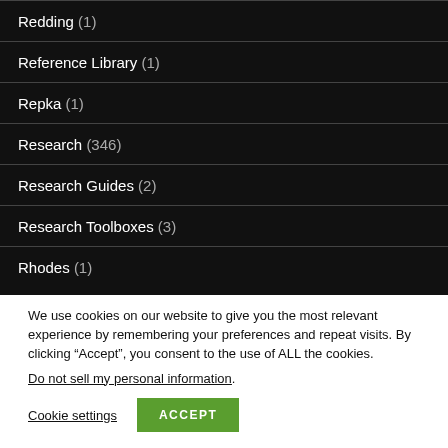Redding (1)
Reference Library (1)
Repka (1)
Research (346)
Research Guides (2)
Research Toolboxes (3)
Rhodes (1)
We use cookies on our website to give you the most relevant experience by remembering your preferences and repeat visits. By clicking “Accept”, you consent to the use of ALL the cookies.
Do not sell my personal information.
Cookie settings
ACCEPT